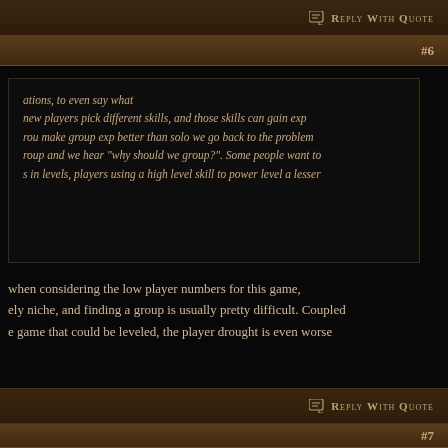Reply With Quote
#6
ations, to even say what
new players pick different skills, and those skills can gain exp
rou make group exp better than solo we go back to the problem
roup and we hear "why should we group?". Some people want to
s in levels, players using a high level skill to power level a lesser
when considering the low player numbers for this game,
ely niche, and finding a group is usually pretty difficult. Coupled
e game that could be leveled, the player drought is even worse
Reply With Quote
#7